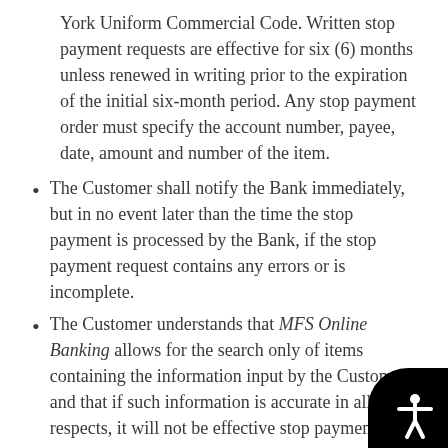York Uniform Commercial Code. Written stop payment requests are effective for six (6) months unless renewed in writing prior to the expiration of the initial six-month period. Any stop payment order must specify the account number, payee, date, amount and number of the item.
The Customer shall notify the Bank immediately, but in no event later than the time the stop payment is processed by the Bank, if the stop payment request contains any errors or is incomplete.
The Customer understands that MFS Online Banking allows for the search only of items containing the information input by the Customer and that if such information is accurate in all respects, it will not be effective stop payment of the desired item and may